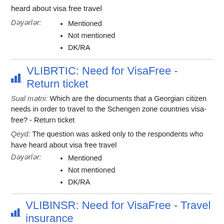heard about visa free travel
Dəyərlər:
Mentioned
Not mentioned
DK/RA
VLIBRTIC: Need for VisaFree - Return ticket
Sual mətni: Which are the documents that a Georgian citizen needs in order to travel to the Schengen zone countries visa-free? - Return ticket
Qeyd: The question was asked only to the respondents who have heard about visa free travel
Dəyərlər:
Mentioned
Not mentioned
DK/RA
VLIBINSR: Need for VisaFree - Travel insurance
Sual mətni: Which are the documents that a Georgian citizen needs in order to travel to the Schengen zone countries visa-free? -